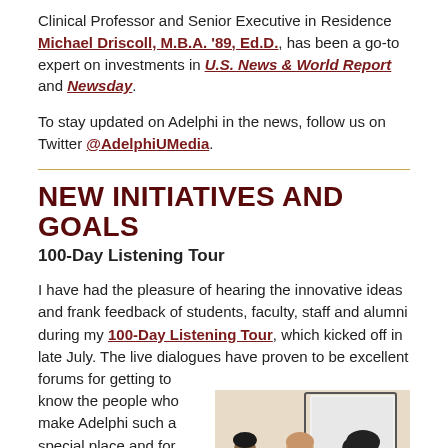Clinical Professor and Senior Executive in Residence Michael Driscoll, M.B.A. '89, Ed.D., has been a go-to expert on investments in U.S. News & World Report and Newsday.
To stay updated on Adelphi in the news, follow us on Twitter @AdelphiUMedia.
NEW INITIATIVES AND GOALS
100-Day Listening Tour
I have had the pleasure of hearing the innovative ideas and frank feedback of students, faculty, staff and alumni during my 100-Day Listening Tour, which kicked off in late July. The live dialogues have proven to be excellent forums for getting to know the people who make Adelphi such a special place and for exchanging ideas about future opportunities for the
[Figure (photo): A woman in a pink sleeveless shirt speaking or presenting at an event, with other attendees visible in the background near a presentation screen.]